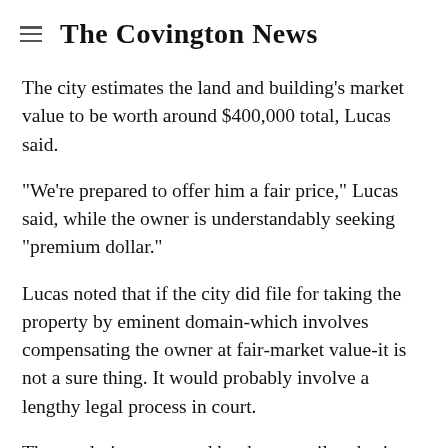The Covington News
The city estimates the land and building's market value to be worth around $400,000 total, Lucas said.
"We're prepared to offer him a fair price," Lucas said, while the owner is understandably seeking "premium dollar."
Lucas noted that if the city did file for taking the property by eminent domain-which involves compensating the owner at fair-market value-it is not a sure thing. It would probably involve a lengthy legal process in court.
The resolution approved by the council authorizes city staff to negotiate for the property without further approvals and to hire a firm of attorneys to